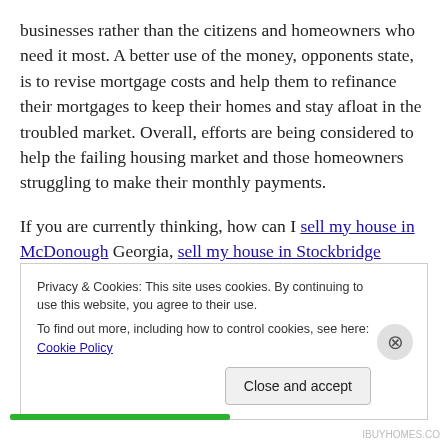businesses rather than the citizens and homeowners who need it most. A better use of the money, opponents state, is to revise mortgage costs and help them to refinance their mortgages to keep their homes and stay afloat in the troubled market. Overall, efforts are being considered to help the failing housing market and those homeowners struggling to make their monthly payments.
If you are currently thinking, how can I sell my house in McDonough Georgia, sell my house in Stockbridge Georgia, sell my house in Atlanta, or sell my house in
Privacy & Cookies: This site uses cookies. By continuing to use this website, you agree to their use.
To find out more, including how to control cookies, see here: Cookie Policy